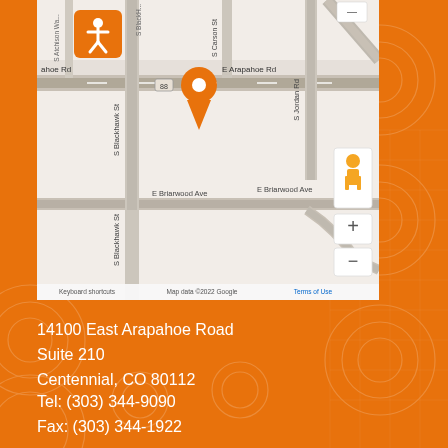[Figure (map): Google Maps screenshot showing location near E Arapahoe Rd and S Blackhawk St in Centennial, CO. Orange map pin marker visible. Streets labeled include S Atchison Way, S Blackhawk St, S Carson St, S Jordan Rd, E Arapahoe Rd, E Briarwood Ave. Map data ©2022 Google.]
14100 East Arapahoe Road
Suite 210
Centennial, CO 80112
Tel: (303) 344-9090
Fax: (303) 344-1922